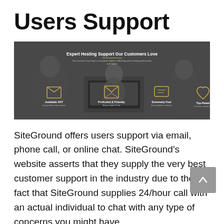Users Support
[Figure (screenshot): SiteGround support page screenshot showing 'Expert Hosting Support Our Customers Love' with icons for Available 24/7, Proficient & Friendly, Extremely Fast, Top-Rated, and a background photo of team members working together.]
SiteGround offers users support via email, phone call, or online chat. SiteGround’s website asserts that they supply the very best customer support in the industry due to the fact that SiteGround supplies 24/hour call with an actual individual to chat with any type of concerns you might have.
The user support at SiteGround was prompt,